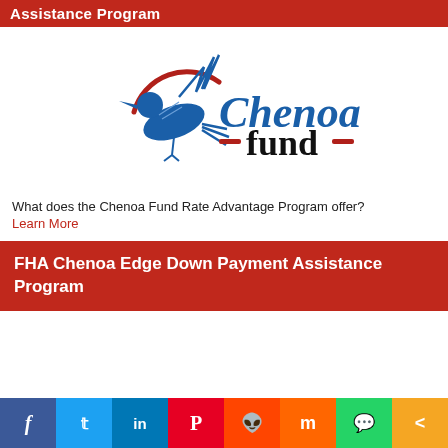Assistance Program
[Figure (logo): Chenoa Fund logo with blue hummingbird and red arc, blue and black text reading 'Chenoa fund']
What does the Chenoa Fund Rate Advantage Program offer?
Learn More
FHA Chenoa Edge Down Payment Assistance Program